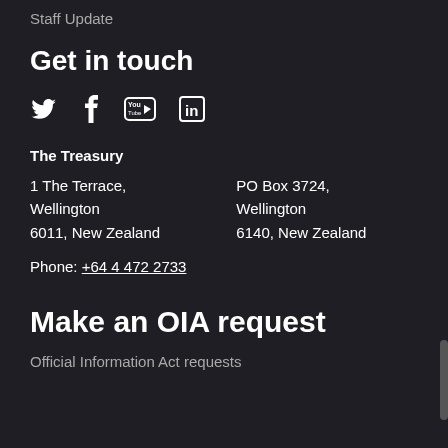Staff Update
Get in touch
[Figure (illustration): Social media icons: Twitter (bird), Facebook (f), YouTube (play button in rectangle), LinkedIn (in)]
The Treasury
1 The Terrace, Wellington 6011, New Zealand
PO Box 3724, Wellington 6140, New Zealand
Phone: +64 4 472 2733
Make an OIA request
Official Information Act requests